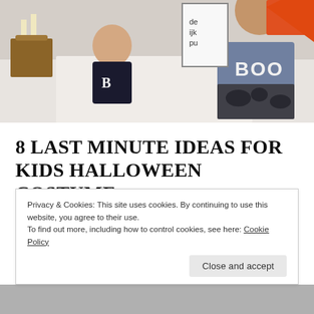[Figure (photo): Children in Halloween costumes playing on a bed with a BOO pillow and Halloween decorations]
8 LAST MINUTE IDEAS FOR KIDS HALLOWEEN COSTUME
Hey yeah!! Who doesn't excited for Halloween?! Anyone's ready with their pumpkins? What about Halloween costumes?
Privacy & Cookies: This site uses cookies. By continuing to use this website, you agree to their use.
To find out more, including how to control cookies, see here: Cookie Policy
Close and accept